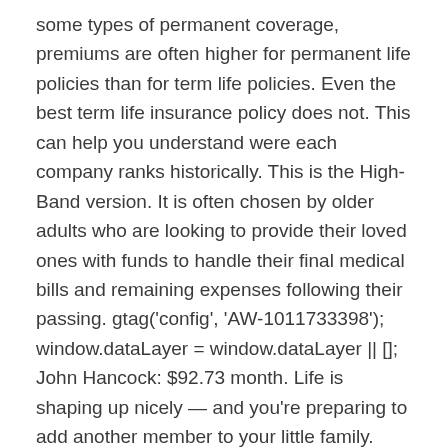some types of permanent coverage, premiums are often higher for permanent life policies than for term life policies. Even the best term life insurance policy does not. This can help you understand were each company ranks historically. This is the High-Band version. It is often chosen by older adults who are looking to provide their loved ones with funds to handle their final medical bills and remaining expenses following their passing. gtag('config', 'AW-1011733398'); window.dataLayer = window.dataLayer || []; John Hancock: $92.73 month. Life is shaping up nicely — and you're preparing to add another member to your little family. function gtag(){dataLayer.push(arguments);} Permanent life insurance refers to a variety of life insurance products intended to provide you and your loved ones with life-long protection. AGL is not licensed to do business in New York. window.dataLayer...